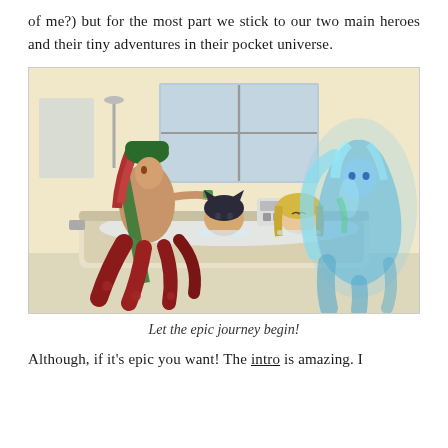of me?) but for the most part we stick to our two main heroes and their tiny adventures in their pocket universe.
[Figure (illustration): Anime-style illustration showing characters in a bathroom scene: a tall character with green hat and red hair kneeling beside a bathtub, two characters submerged in the tub (one with dark cat ears, one with blonde hair), and a translucent blue glowing female figure seated on the right side of the tub. Background shows a window and light-colored walls.]
Let the epic journey begin!
Although, if it's epic you want! The intro is amazing. I